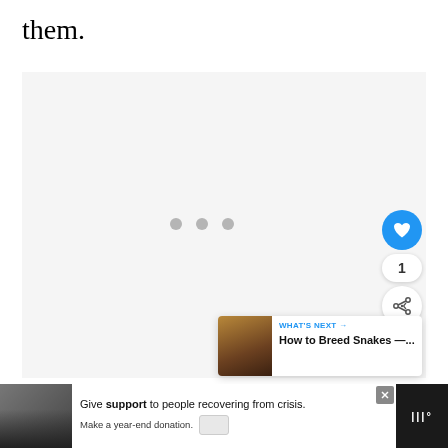them.
[Figure (screenshot): A large light gray content area with three gray loading dots centered, overlaid with a blue circular heart/like button, a count badge showing '1', and a circular share button on the right side. A 'What's Next' card appears at the bottom right with a snake image thumbnail and text 'How to Breed Snakes —...']
[Figure (screenshot): Advertisement banner at the bottom showing a couple photo on left, white area with text 'Give support to people recovering from crisis. Make a year-end donation.' with a payment icon, a close X button, and a dark right section with Wysa logo.]